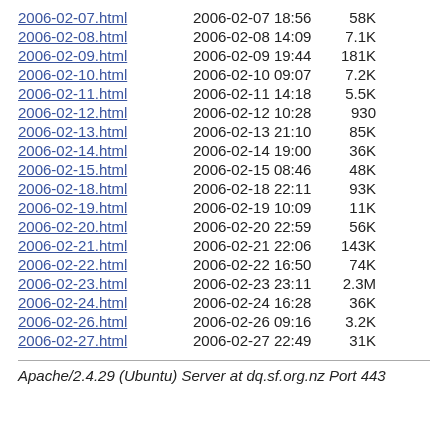2006-02-07.html 2006-02-07 18:56 58K
2006-02-08.html 2006-02-08 14:09 7.1K
2006-02-09.html 2006-02-09 19:44 181K
2006-02-10.html 2006-02-10 09:07 7.2K
2006-02-11.html 2006-02-11 14:18 5.5K
2006-02-12.html 2006-02-12 10:28 930
2006-02-13.html 2006-02-13 21:10 85K
2006-02-14.html 2006-02-14 19:00 36K
2006-02-15.html 2006-02-15 08:46 48K
2006-02-18.html 2006-02-18 22:11 93K
2006-02-19.html 2006-02-19 10:09 11K
2006-02-20.html 2006-02-20 22:59 56K
2006-02-21.html 2006-02-21 22:06 143K
2006-02-22.html 2006-02-22 16:50 74K
2006-02-23.html 2006-02-23 23:11 2.3M
2006-02-24.html 2006-02-24 16:28 36K
2006-02-26.html 2006-02-26 09:16 3.2K
2006-02-27.html 2006-02-27 22:49 31K
Apache/2.4.29 (Ubuntu) Server at dq.sf.org.nz Port 443